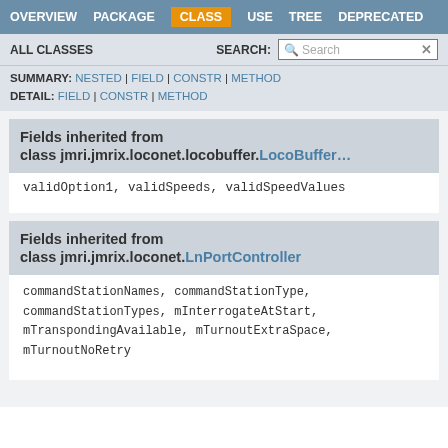OVERVIEW  PACKAGE  CLASS  USE  TREE  DEPRECATED
ALL CLASSES   SEARCH:  [Search]
SUMMARY: NESTED | FIELD | CONSTR | METHOD  DETAIL: FIELD | CONSTR | METHOD
Fields inherited from class jmri.jmrix.loconet.locobuffer.LocoBuffer
validOption1, validSpeeds, validSpeedValues
Fields inherited from class jmri.jmrix.loconet.LnPortController
commandStationNames, commandStationType, commandStationTypes, mInterrogateAtStart, mTranspondingAvailable, mTurnoutExtraSpace, mTurnoutNoRetry